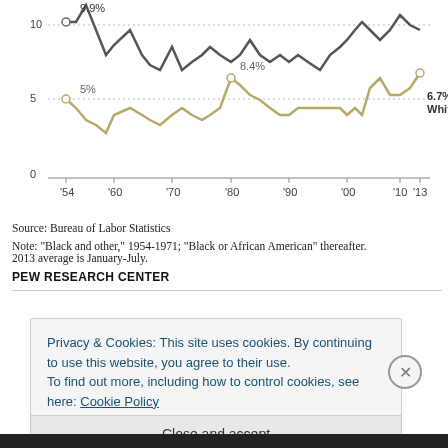[Figure (line-chart): Unemployment rate by race/ethnicity]
Source: Bureau of Labor Statistics
Note: "Black and other," 1954-1971; "Black or African American" thereafter. 2013 average is January-July.
PEW RESEARCH CENTER
Privacy & Cookies: This site uses cookies. By continuing to use this website, you agree to their use.
To find out more, including how to control cookies, see here: Cookie Policy
Close and accept